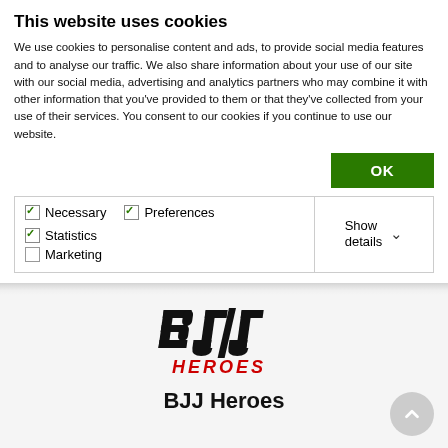This website uses cookies
We use cookies to personalise content and ads, to provide social media features and to analyse our traffic. We also share information about your use of our site with our social media, advertising and analytics partners who may combine it with other information that you've provided to them or that they've collected from your use of their services. You consent to our cookies if you continue to use our website.
[Figure (screenshot): Cookie consent dialog with OK button in green, checkboxes for Necessary (checked), Preferences (checked), Statistics (checked), Marketing (unchecked), and a Show details dropdown]
[Figure (logo): BJJ Heroes logo — stylized 'BJJ' lettering in black with italic slanted design, and 'HEROES' in red italic text below]
BJJ Heroes